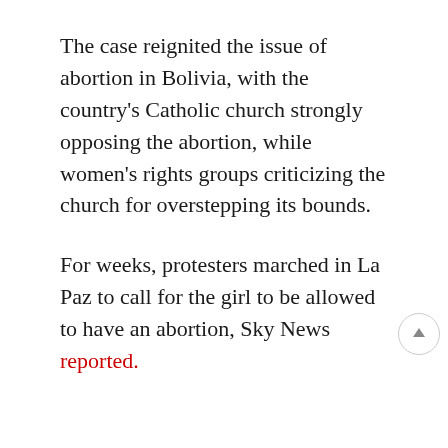The case reignited the issue of abortion in Bolivia, with the country's Catholic church strongly opposing the abortion, while women's rights groups criticizing the church for overstepping its bounds.
For weeks, protesters marched in La Paz to call for the girl to be allowed to have an abortion, Sky News reported.